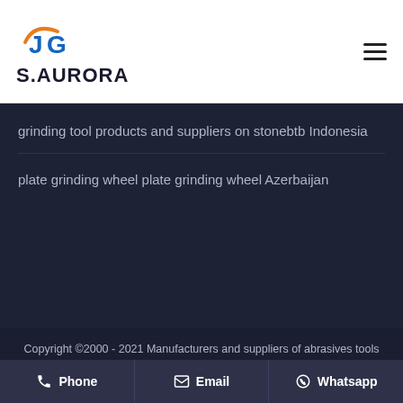[Figure (logo): S.AURORA logo with stylized JS letters in blue and orange]
grinding tool products and suppliers on stonebtb Indonesia
plate grinding wheel plate grinding wheel Azerbaijan
Copyright ©2000 - 2021 Manufacturers and suppliers of abrasives tools
Phone | Email | Whatsapp